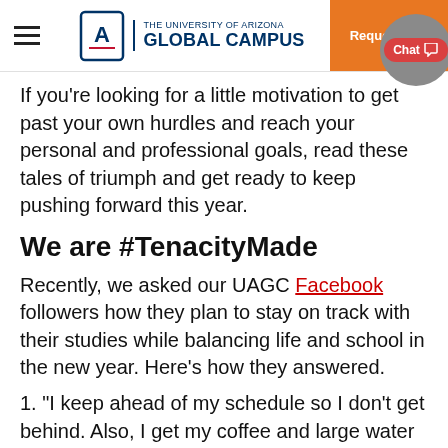THE UNIVERSITY OF ARIZONA GLOBAL CAMPUS | Request Info
If you're looking for a little motivation to get past your own hurdles and reach your personal and professional goals, read these tales of triumph and get ready to keep pushing forward this year.
We are #TenacityMade
Recently, we asked our UAGC Facebook followers how they plan to stay on track with their studies while balancing life and school in the new year. Here’s how they answered.
1. “I keep ahead of my schedule so I don’t get behind. Also, I get my coffee and large water bottle ready to knock out those